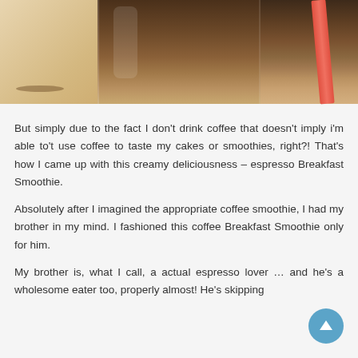[Figure (photo): Close-up photo of a glass filled with a dark brown espresso/coffee smoothie, with a red straw on the right side, sitting on a light wooden surface.]
But simply due to the fact I don't drink coffee that doesn't imply i'm able to't use coffee to taste my cakes or smoothies, right?! That's how I came up with this creamy deliciousness – espresso Breakfast Smoothie.
Absolutely after I imagined the appropriate coffee smoothie, I had my brother in my mind. I fashioned this coffee Breakfast Smoothie only for him.
My brother is, what I call, a actual espresso lover … and he's a wholesome eater too, properly almost! He's skipping